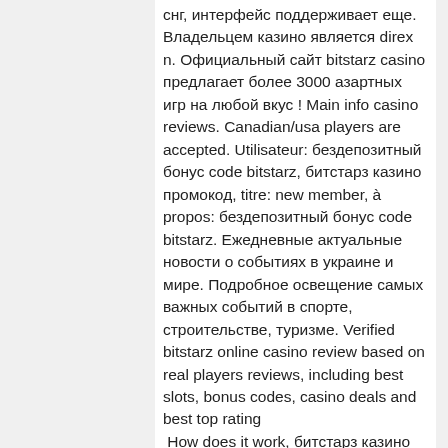снг, интерфейс поддерживает еще. Владельцем казино является direx n. Официальный сайт bitstarz casino предлагает более 3000 азартных игр на любой вкус ! Main info casino reviews. Canadian/usa players are accepted. Utilisateur: бездепозитный бонус code bitstarz, битстарз казино промокод, titre: new member, à propos: бездепозитный бонус code bitstarz. Ежедневные актуальные новости о событиях в украине и мире. Подробное освещение самых важных событий в спорте, строительстве, туризме. Verified bitstarz online casino review based on real players reviews, including best slots, bonus codes, casino deals and best top rating
 How does it work, битстарз казино официальный сайт. The popularity of games allows its developers to earn on